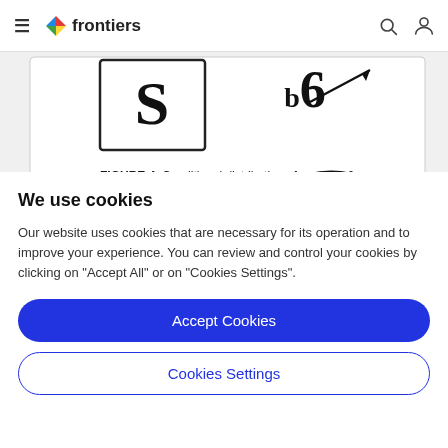frontiers
[Figure (illustration): Partial view of a scientific figure (FIGURE 4) showing conditional distribution of xs given theta, with boxes containing symbols S, b6, C, and beta with arrows and curves.]
FIGURE 4. Conditional distribution of xs given θ.
We use cookies
Our website uses cookies that are necessary for its operation and to improve your experience. You can review and control your cookies by clicking on "Accept All" or on "Cookies Settings".
Accept Cookies
Cookies Settings